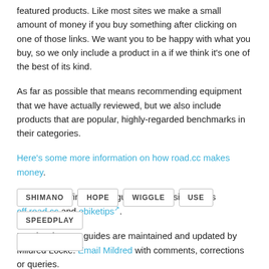featured products. Like most sites we make a small amount of money if you buy something after clicking on one of those links. We want you to be happy with what you buy, so we only include a product in a if we think it's one of the best of its kind.
As far as possible that means recommending equipment that we have actually reviewed, but we also include products that are popular, highly-regarded benchmarks in their categories.
Here's some more information on how road.cc makes money.
You can also find further guides on our sister sites off.road.cc and ebiketips.
Road.cc buyer's guides are maintained and updated by Mildred Locke. Email Mildred with comments, corrections or queries.
SHIMANO
HOPE
WIGGLE
USE
SPEEDPLAY